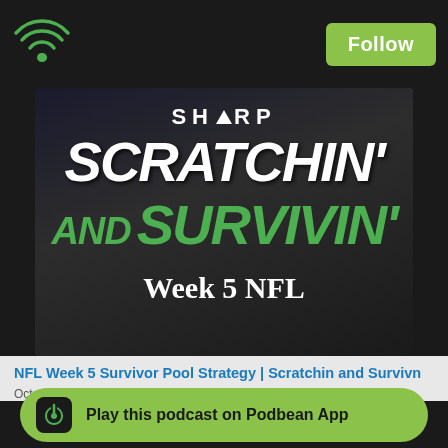Podbean app header with wifi icon and Follow button
[Figure (illustration): Podcast cover art for 'SHARP Scratchin' and Survivin' - Week 5 NFL. Dark background with white scratchy text 'SCRATCHIN'' and green text 'AND SURVIVIN'' with SHARP logo at top and 'Week 5 NFL' at bottom.]
NFL Week 5 Survivor Pool Strategy | Scratchin and Survivn
October 6, 2...
Play this podcast on Podbean App